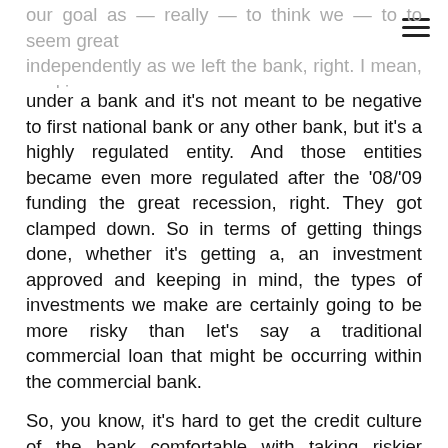our goal as — really — to think we — to to seem great independently as we left the bank, right. I mean, working under a bank and it's not meant to be negative to first national bank or any other bank, but it's a highly regulated entity. And those entities became even more regulated after the '08/'09 funding the great recession, right. They got clamped down. So in terms of getting things done, whether it's getting a, an investment approved and keeping in mind, the types of investments we make are certainly going to be more risky than let's say a traditional commercial loan that might be occurring within the commercial bank.
So, you know, it's hard to get the credit culture of the bank comfortable with taking riskier investments coming out of a financial crisis. So in other words, it's hard to get things done. By going out on our own independently it gave us the entrepreneurial freedom to discover what the market would bear in terms of where we fit in that market.